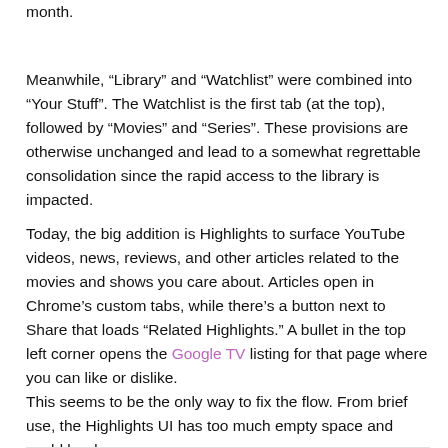month.
Meanwhile, “Library” and “Watchlist” were combined into “Your Stuff”. The Watchlist is the first tab (at the top), followed by “Movies” and “Series”. These provisions are otherwise unchanged and lead to a somewhat regrettable consolidation since the rapid access to the library is impacted.
Today, the big addition is Highlights to surface YouTube videos, news, reviews, and other articles related to the movies and shows you care about. Articles open in Chrome’s custom tabs, while there’s a button next to Share that loads “Related Highlights.” A bullet in the top left corner opens the Google TV listing for that page where you can like or dislike.
This seems to be the only way to fix the flow. From brief use, the Highlights UI has too much empty space and could be denser.